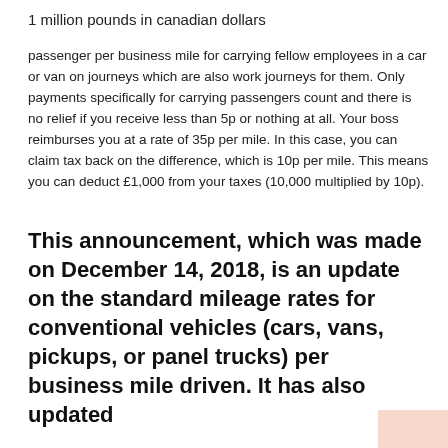1 million pounds in canadian dollars
passenger per business mile for carrying fellow employees in a car or van on journeys which are also work journeys for them. Only payments specifically for carrying passengers count and there is no relief if you receive less than 5p or nothing at all. Your boss reimburses you at a rate of 35p per mile. In this case, you can claim tax back on the difference, which is 10p per mile. This means you can deduct £1,000 from your taxes (10,000 multiplied by 10p).
This announcement, which was made on December 14, 2018, is an update on the standard mileage rates for conventional vehicles (cars, vans, pickups, or panel trucks) per business mile driven. It has also updated